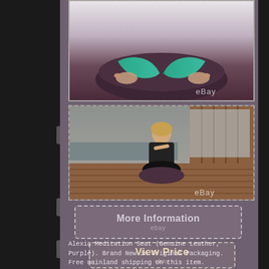[Figure (photo): Close-up photo of a person in lotus meditation pose on a dark purple/brown leather meditation seat, with teal/green legs crossed. eBay watermark visible at bottom right.]
[Figure (photo): Outdoor photo of a woman in black yoga outfit sitting in lotus position on a dark purple meditation cushion on a wooden deck with tropical water view in the background. eBay watermark visible.]
[Figure (other): More Information button with dashed border and eBay label below]
[Figure (other): View Price button with dashed border and eBay label below]
Alexia Meditation Seat (Genuine Leather, Purple). Brand New in Original Packaging. Free mainland shipping on this item.